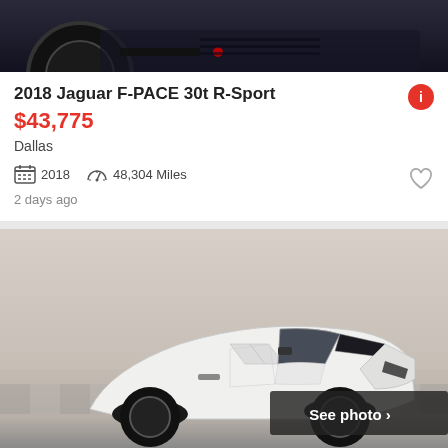[Figure (photo): Partial view of a dark Jaguar F-PACE SUV from front/side, dark background, visible wheel and front bumper]
2018 Jaguar F-PACE 30t R-Sport
$43,775
Dallas
2018  48,304 Miles
2 days ago
[Figure (photo): White Jaguar F-TYPE R300 coupe on a showroom floor, front three-quarter view, with a 'See photo >' button overlay in the bottom right]
2020 Jaguar F-TYPE R300